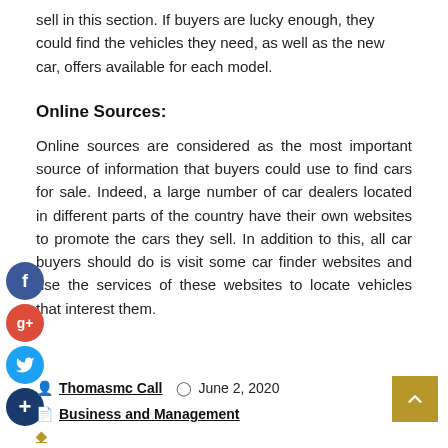sell in this section. If buyers are lucky enough, they could find the vehicles they need, as well as the new car, offers available for each model.
Online Sources:
Online sources are considered as the most important source of information that buyers could use to find cars for sale. Indeed, a large number of car dealers located in different parts of the country have their own websites to promote the cars they sell. In addition to this, all car buyers should do is visit some car finder websites and use the services of these websites to locate vehicles that interest them.
[Figure (infographic): Social media share icons: Facebook (blue circle with f), Google+ (red circle with g+), Twitter (light blue circle with bird), and a dark blue plus button]
Thomasmc Call   June 2, 2020
Business and Management